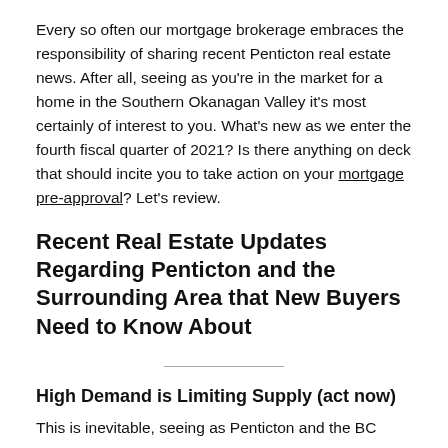Every so often our mortgage brokerage embraces the responsibility of sharing recent Penticton real estate news. After all, seeing as you're in the market for a home in the Southern Okanagan Valley it's most certainly of interest to you. What's new as we enter the fourth fiscal quarter of 2021? Is there anything on deck that should incite you to take action on your mortgage pre-approval? Let's review.
Recent Real Estate Updates Regarding Penticton and the Surrounding Area that New Buyers Need to Know About
High Demand is Limiting Supply (act now)
This is inevitable, seeing as Penticton and the BC